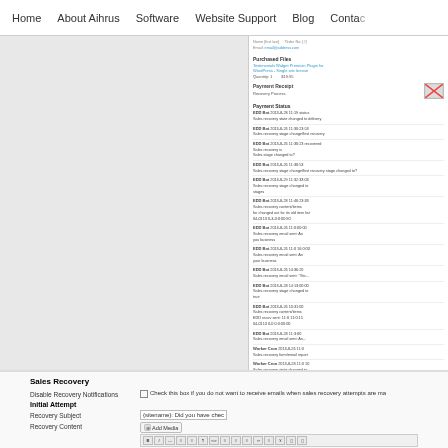Home | About Aihrus | Software | Website Support | Blog | Contact
[Figure (screenshot): Screenshot of an order detail page showing payment receipt, recovery process, purchased files, and payment status log entries with multiple EDD Bot and Worker Cron entries.]
3. Order Detail of sales recovery atte
Sales Recovery
Disable Recovery Notifications - Check this box if you do not want to receive emails when sales recovery attempts are ma...
Initial Attempt
Recovery Subject: {sitename}: Did you have chec
Recovery Content: [Add Media] toolbar